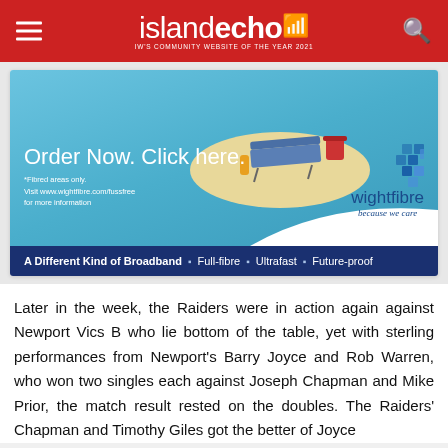island echo - IW's Community Website of the Year 2021
[Figure (illustration): WightFibre advertisement showing a beach scene with a sun lounger on a sandy island, with text 'Order Now. Click here.' and disclaimer '*Fibred areas only. Visit www.wightfibre.com/fussfree for more information'. WightFibre logo with 'because we care' tagline. Bottom bar: 'A Different Kind of Broadband Full-fibre · Ultrafast · Future-proof']
Later in the week, the Raiders were in action again against Newport Vics B who lie bottom of the table, yet with sterling performances from Newport's Barry Joyce and Rob Warren, who won two singles each against Joseph Chapman and Mike Prior, the match result rested on the doubles. The Raiders' Chapman and Timothy Giles got the better of Joyce